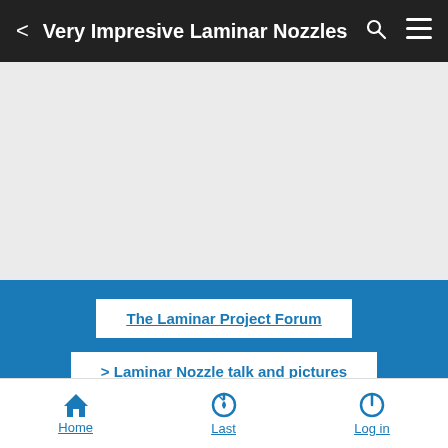Very Impresive Laminar Nozzles
[Figure (screenshot): Grey placeholder content area]
The Laminar Project Forum
> Laminar Nozzle talk and pictures
Very Impresive Laminar Nozzles
[Figure (photo): Row of circular avatar thumbnails at the bottom of the post card]
Home  Last  Log in